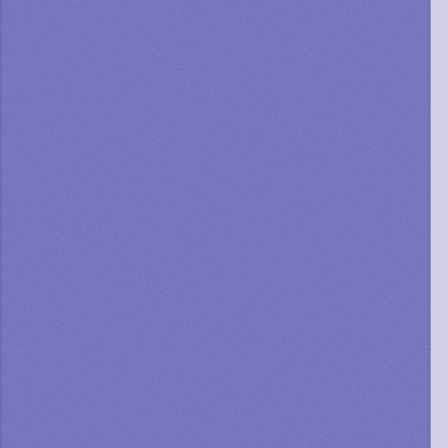[Figure (photo): Left side panel with purple/periwinkle textured fabric or cardstock background]
Card: AC, kraft cardstock
Embellishments: Prismacolor pencil, white; Bling Bling, gem
My next card uses those beautiful falling
[Figure (photo): Greeting card photo showing blue snowflake patterned paper with white stitched border on gray background]